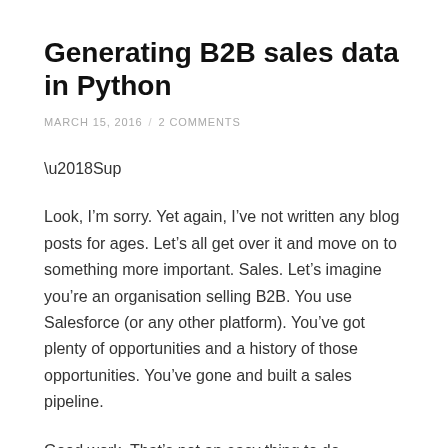Generating B2B sales data in Python
MARCH 15, 2016  /  2 COMMENTS
‘Sup
Look, I’m sorry. Yet again, I’ve not written any blog posts for ages. Let’s all get over it and move on to something more important. Sales. Let’s imagine you’re an organisation selling B2B. You use Salesforce (or any other platform). You’ve got plenty of opportunities and a history of those opportunities. You’ve gone and built a sales pipeline.
Good work. That’s not an easy thing to do.